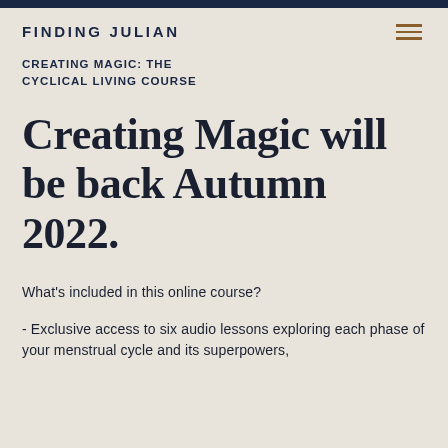FINDING JULIAN
CREATING MAGIC: THE CYCLICAL LIVING COURSE
Creating Magic will be back Autumn 2022.
What's included in this online course?
- Exclusive access to six audio lessons exploring each phase of your menstrual cycle and its superpowers,